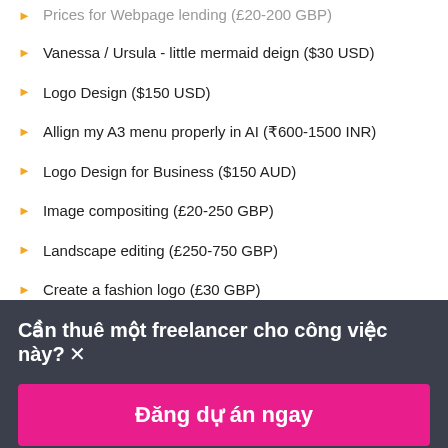Vanessa / Ursula - little mermaid deign ($30 USD)
Logo Design ($150 USD)
Allign my A3 menu properly in AI (₹600-1500 INR)
Logo Design for Business ($150 AUD)
Image compositing (£20-250 GBP)
Landscape editing (£250-750 GBP)
Create a fashion logo (£30 GBP)
Looing for web designer ($30-250 USD)
Cần thuê một freelancer cho công việc này? ×
Đăng dự án ngay